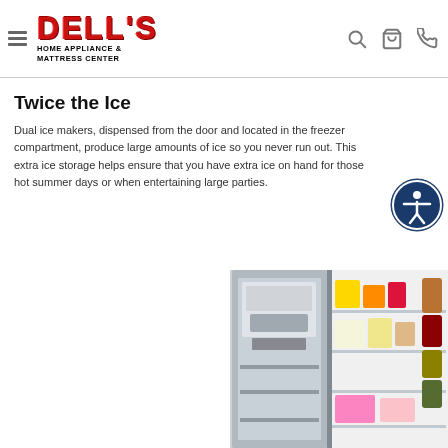Dell's Home Appliance & Mattress Center
Twice the Ice
Dual ice makers, dispensed from the door and located in the freezer compartment, produce large amounts of ice so you never run out. This extra ice storage helps ensure that you have extra ice on hand for those hot summer days or when entertaining large parties.
[Figure (photo): Open refrigerator showing interior with ice maker, shelves stocked with food and condiments]